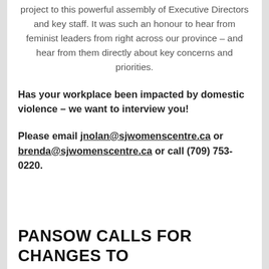project to this powerful assembly of Executive Directors and key staff. It was such an honour to hear from feminist leaders from right across our province – and hear from them directly about key concerns and priorities.
Has your workplace been impacted by domestic violence – we want to interview you!
Please email jnolan@sjwomenscentre.ca or brenda@sjwomenscentre.ca or call (709) 753-0220.
PANSOW CALLS FOR CHANGES TO